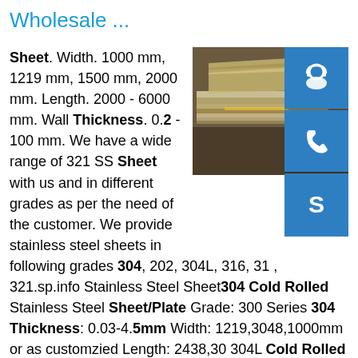Wholesale ...
Sheet. Width. 1000 mm, 1219 mm, 1500 mm, 2000 mm. Length. 2000 - 6000 mm. Wall Thickness. 0.2 - 100 mm. We have a wide range of 321 SS Sheet with us and in different grades as per the need of the customer. We provide stainless steel sheets in following grades 304, 202, 304L, 316, 316 , 321.sp.info Stainless Steel Sheet304 Cold Rolled Stainless Steel Sheet/Plate Grade: 300 Series 304 Thickness: 0.03-4.5mm Width: 1219,3048,1000mm or as customzied Length: 2438,30 304L Cold Rolled Stainless Steel Sheet/Platesp.info 304 Stainless Steel | Grade 304 | Austral Wright MetalsGrade 304 is often used for food equipment, where cleaning for the removal of bacteria is vital. The cleanability of 304 stainless steel is superior to many other materials. Cold Fabrication Grade 304 is
[Figure (photo): Stack of steel sheets/plates in a warehouse or outdoor setting, showing layered metal plates. Three blue icon buttons on the right side: customer support/headset icon, phone icon, and Skype icon.]